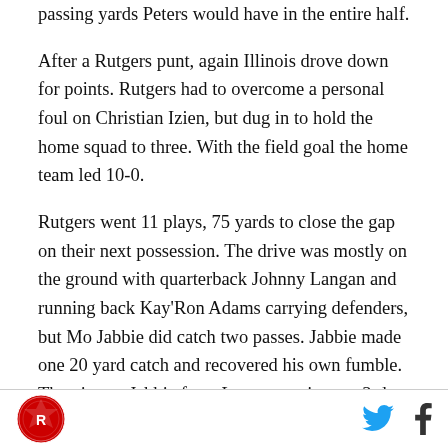passing yards Peters would have in the entire half.
After a Rutgers punt, again Illinois drove down for points. Rutgers had to overcome a personal foul on Christian Izien, but dug in to hold the home squad to three. With the field goal the home team led 10-0.
Rutgers went 11 plays, 75 yards to close the gap on their next possession. The drive was mostly on the ground with quarterback Johnny Langan and running back Kay'Ron Adams carrying defenders, but Mo Jabbie did catch two passes. Jabbie made one 20 yard catch and recovered his own fumble. Then it was Jabbie from Langan again on a 3rd and 13 at the Illinois 31 yard line who went the distance for a